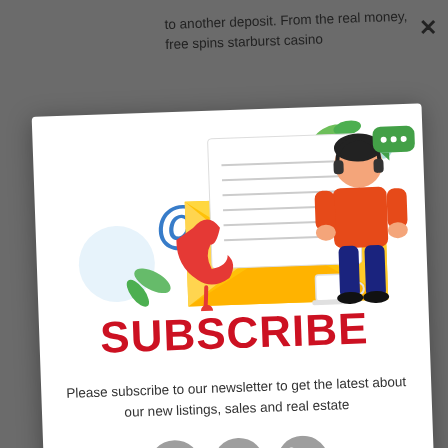to another deposit. From the real money, free spins starburst casino
[Figure (illustration): Newsletter subscription popup with yellow envelope, letter, red telephone, @ symbol, person with headset, coffee cup, and decorative leaves]
SUBSCRIBE
Please subscribe to our newsletter to get the latest about our new listings, sales and real estate
[Figure (illustration): Social media icons: Facebook, Twitter, LinkedIn]